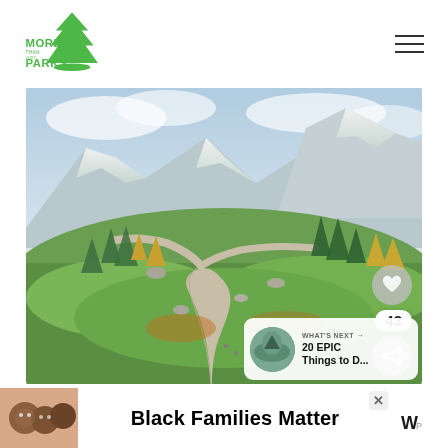MORE THAN JUST PARKS
[Figure (photo): Scenic mountain landscape with winding paved trail through green meadows, evergreen trees with fall foliage, and snow-capped peaks in the background. Overlaid UI elements include a heart/like button, a count of 43, a share button, and a 'What's Next' panel showing '20 EPIC Things to D...']
[Figure (photo): Advertisement banner: 'Black Families Matter' with photo of smiling family and a logo mark on right.]